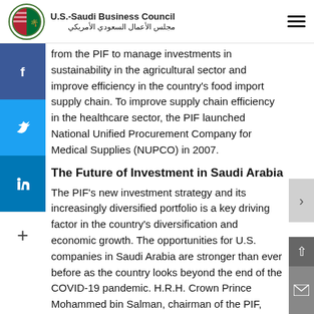[Figure (logo): U.S.-Saudi Business Council logo with circular flag emblem]
from the PIF to manage investments in sustainability in the agricultural sector and improve efficiency in the country's food import supply chain. To improve supply chain efficiency in the healthcare sector, the PIF launched National Unified Procurement Company for Medical Supplies (NUPCO) in 2007.
The Future of Investment in Saudi Arabia
The PIF's new investment strategy and its increasingly diversified portfolio is a key driving factor in the country's diversification and economic growth. The opportunities for U.S. companies in Saudi Arabia are stronger than ever before as the country looks beyond the end of the COVID-19 pandemic. H.R.H. Crown Prince Mohammed bin Salman, chairman of the PIF, affirmed that “in effect, Saudi Arabia is doubling down on the Vision strategy at a time when the world is reeling from the pandemic and economic strategists are still